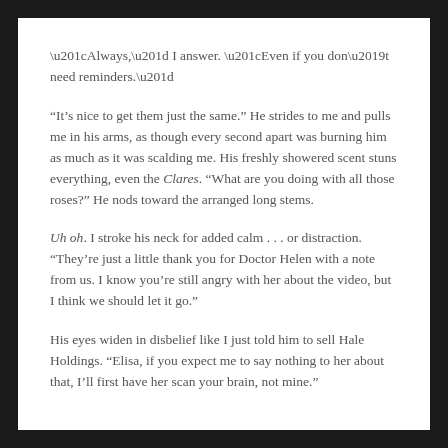“Always,” I answer. “Even if you don’t need reminders.”
“It’s nice to get them just the same.” He strides to me and pulls me in his arms, as though every second apart was burning him as much as it was scalding me. His freshly showered scent stuns everything, even the Clares. “What are you doing with all those roses?” He nods toward the arranged long stems.
Uh oh. I stroke his neck for added calm . . . or distraction. “They’re just a little thank you for Doctor Helen with a note from us. I know you’re still angry with her about the video, but I think we should let it go.”
His eyes widen in disbelief like I just told him to sell Hale Holdings. “Elisa, if you expect me to say nothing to her about that, I’ll first have her scan your brain, not mine.”